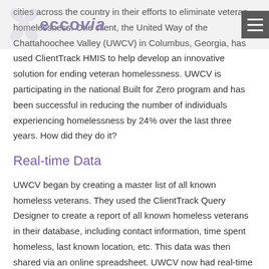eccovia
cities across the country in their efforts to eliminate veteran homelessness. One client, the United Way of the Chattahoochee Valley (UWCV) in Columbus, Georgia, has used ClientTrack HMIS to help develop an innovative solution for ending veteran homelessness. UWCV is participating in the national Built for Zero program and has been successful in reducing the number of individuals experiencing homelessness by 24% over the last three years. How did they do it?
Real-time Data
UWCV began by creating a master list of all known homeless veterans. They used the ClientTrack Query Designer to create a report of all known homeless veterans in their database, including contact information, time spent homeless, last known location, etc. This data was then shared via an online spreadsheet. UWCV now had real-time information about the needs of each homeless veteran but knew it wasn't enough — they needed to collaborate with other agencies in the community. Armed with the ClientTrack